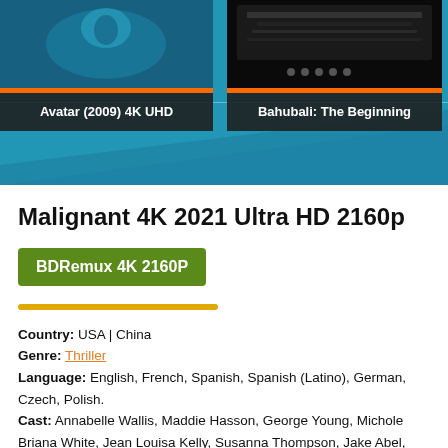[Figure (screenshot): Website banner showing movie cards: Avatar (2009) 4K UHD, Bahubali: The Beginning, and a partially visible third movie card. Teal/blue background with diagonal shape at bottom.]
Malignant 4K 2021 Ultra HD 2160p
BDRemux 4K 2160P
Country: USA | China
Genre: Thriller
Language: English, French, Spanish, Spanish (Latino), German, Czech, Polish.
Cast: Annabelle Wallis, Maddie Hasson, George Young, Michole Briana White, Jean Louisa Kelly, Susanna Thompson, Jake Abel, Jacqueline McKenzie, Christian Clemenson, Amir AboulEla, Mercedes Colon, Ingrid Bisu, Ruben Pla, Jon Lee Brody, Paula Marshall, Zoë Bell, Dan Ramos, Shaunte Lynette